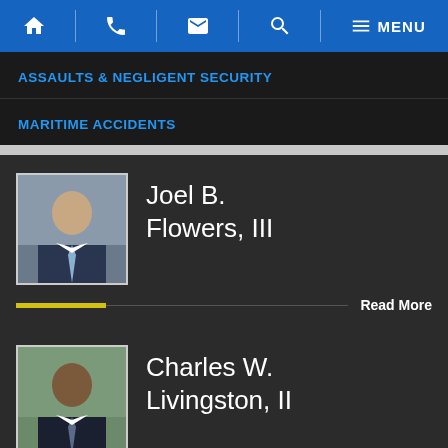Navigation bar with home, phone, email, search, and menu icons
ASSAULTS & NEGLIGENT SECURITY
MARITIME ACCIDENTS
Joel B. Flowers, III
Read More
Charles W. Livingston, II